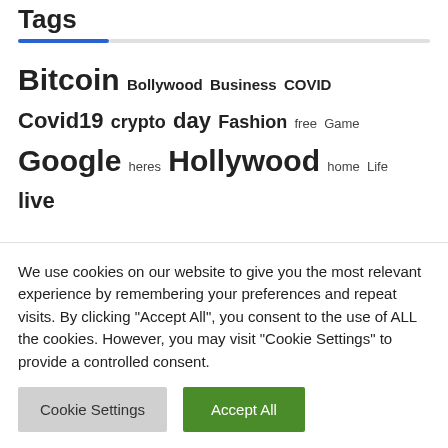Tags
Bitcoin Bollywood Business COVID Covid19 crypto day Fashion free Game Google heres Hollywood home Life live man million National News newsdzeZimbabweNewsdzeZimbabwe opinion people photos Report reporter reveals
We use cookies on our website to give you the most relevant experience by remembering your preferences and repeat visits. By clicking "Accept All", you consent to the use of ALL the cookies. However, you may visit "Cookie Settings" to provide a controlled consent.